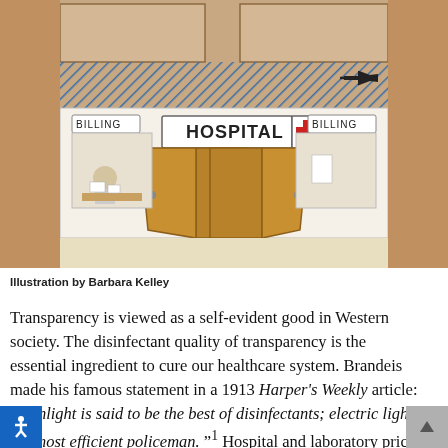[Figure (illustration): Illustrated cartoon of a hospital building facade showing 'HOSPITAL' sign with red cross in the center, two 'BILLING' windows on each side, two open wooden doors, a person at a desk inside the left billing window, and a hatched blue background suggesting indoor space. Arrow pointing left in upper right area.]
Illustration by Barbara Kelley
Transparency is viewed as a self-evident good in Western society. The disinfectant quality of transparency is the essential ingredient to cure our healthcare system. Brandeis made his famous statement in a 1913 Harper's Weekly article: " Sunlight is said to be the best of disinfectants; electric light the most efficient policeman."¹ Hospital and laboratory prices are